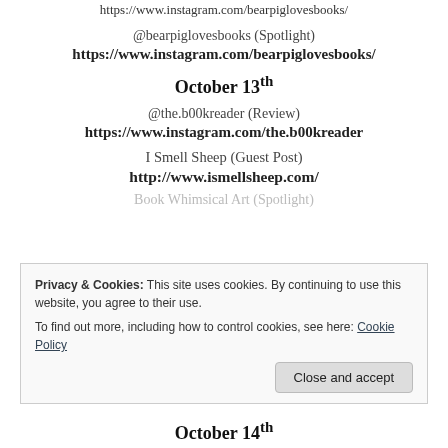https://www.instagram.com/bearpiglovesbooks/ (truncated top)
@bearpiglovesbooks (Spotlight)
https://www.instagram.com/bearpiglovesbooks/
October 13th
@the.b00kreader (Review)
https://www.instagram.com/the.b00kreader
I Smell Sheep (Guest Post)
http://www.ismellsheep.com/
Book Whimsical Art (Spotlight) (partially visible)
Privacy & Cookies: This site uses cookies. By continuing to use this website, you agree to their use.
To find out more, including how to control cookies, see here: Cookie Policy
October 14th